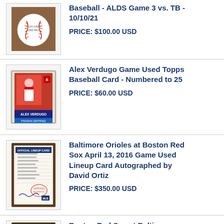[Figure (photo): Baseball - ALDS Game 3 vs. TB - 10/10/21 official baseball on wooden surface]
Baseball - ALDS Game 3 vs. TB - 10/10/21
PRICE: $100.00 USD
[Figure (photo): Alex Verdugo Game Used Topps Baseball Card in protective case, Numbered to 25]
Alex Verdugo Game Used Topps Baseball Card - Numbered to 25
PRICE: $60.00 USD
[Figure (photo): Baltimore Orioles at Boston Red Sox April 13, 2016 Game Used Lineup Card Autographed by David Ortiz - framed document with stamps]
Baltimore Orioles at Boston Red Sox April 13, 2016 Game Used Lineup Card Autographed by David Ortiz
PRICE: $350.00 USD
[Figure (photo): Boston Red Sox at Baltimore Orioles April 10, 2021 Game Used Lineup Card - Red Sox Win 6 to 4 - framed document]
Boston Red Sox at Baltimore Orioles April 10 , 2021 Game Used Lineup Card - Red Sox Win 6 to 4